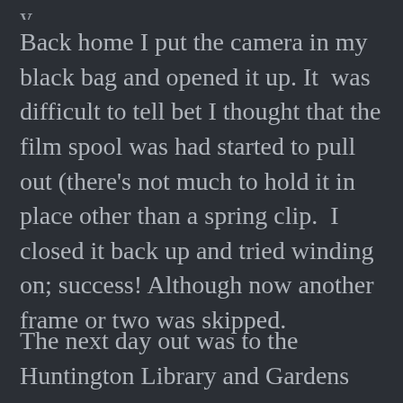y
Back home I put the camera in my black bag and opened it up. It  was difficult to tell bet I thought that the film spool was had started to pull out (there’s not much to hold it in place other than a spring clip.  I closed it back up and tried winding on; success! Although now another frame or two was skipped.
The next day out was to the Huntington Library and Gardens not